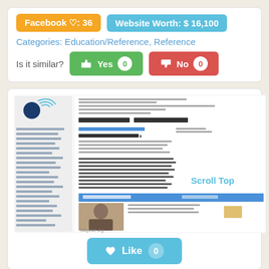Facebook ♡: 36
Website Worth: $ 16,100
Categories: Education/Reference, Reference
Is it similar?  👍 Yes 0   👎 No 0
[Figure (screenshot): Screenshot of a website resembling Wikipedia with a logo, navigation sidebar, article text, and an image of a historical person. Watermark reads 'Siteprice.org'. Text label 'Scroll Top' appears on the right.]
♥ Like 0